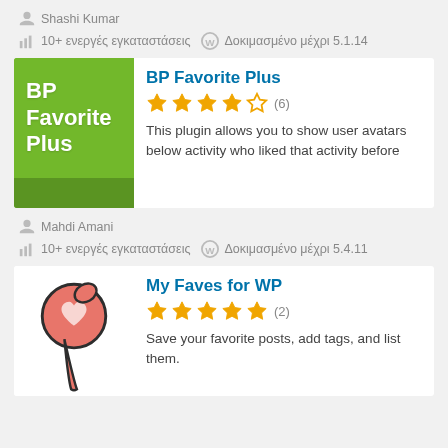Shashi Kumar
10+ ενεργές εγκαταστάσεις  Δοκιμασμένο μέχρι 5.1.14
[Figure (logo): BP Favorite Plus plugin logo — green background with white bold text 'BP Favorite Plus']
BP Favorite Plus
4 out of 5 stars (6)
This plugin allows you to show user avatars below activity who liked that activity before
Mahdi Amani
10+ ενεργές εγκαταστάσεις  Δοκιμασμένο μέχρι 5.4.11
[Figure (illustration): My Faves for WP plugin logo — pink/red pushpin with a heart]
My Faves for WP
5 out of 5 stars (2)
Save your favorite posts, add tags, and list them.